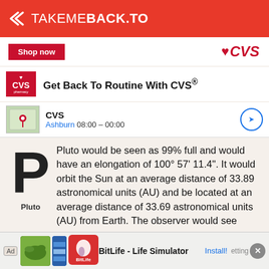TAKEMEBACK.TO
[Figure (screenshot): CVS pharmacy advertisement banner with 'Shop now' button and CVS logo]
Pluto would be seen as 99% full and would have an elongation of 100° 57' 11.4". It would orbit the Sun at an average distance of 33.89 astronomical units (AU) and be located at an average distance of 33.69 astronomical units (AU) from Earth. The observer would see
[Figure (screenshot): BitLife - Life Simulator advertisement banner at the bottom of the page]